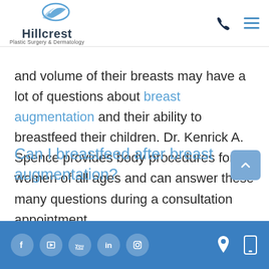Hillcrest Plastic Surgery & Dermatology
and volume of their breasts may have a lot of questions about breast augmentation and their ability to breastfeed their children. Dr. Kenrick A. Spence provides body procedures for women of all ages and can answer these many questions during a consultation appointment.
Can I breastfeed after breast augmentation?
Social media icons and contact icons